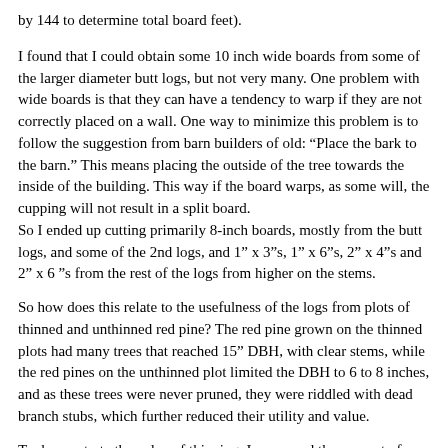by 144 to determine total board feet).
I found that I could obtain some 10 inch wide boards from some of the larger diameter butt logs, but not very many. One problem with wide boards is that they can have a tendency to warp if they are not correctly placed on a wall. One way to minimize this problem is to follow the suggestion from barn builders of old: “Place the bark to the barn.” This means placing the outside of the tree towards the inside of the building. This way if the board warps, as some will, the cupping will not result in a split board.
So I ended up cutting primarily 8-inch boards, mostly from the butt logs, and some of the 2nd logs, and 1” x 3”s, 1” x 6”s, 2” x 4”s and 2” x 6 ”s from the rest of the logs from higher on the stems.
So how does this relate to the usefulness of the logs from plots of thinned and unthinned red pine? The red pine grown on the thinned plots had many trees that reached 15” DBH, with clear stems, while the red pines on the unthinned plot limited the DBH to 6 to 8 inches, and as these trees were never pruned, they were riddled with dead branch stubs, which further reduced their utility and value.
To demonstrate the value of thinning, I compared the amount of lumber obtained from the butt logs of 2 red pines of the same age, but the larger tree had more space (and its crown more access to light). …